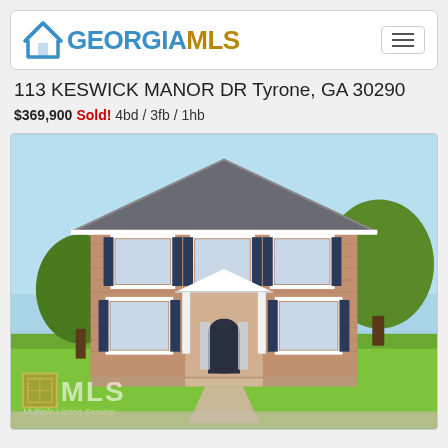[Figure (logo): Georgia MLS logo with house roof icon in teal/blue, text GEORGIA in blue and MLS in gold, plus hamburger menu button]
113 KESWICK MANOR DR Tyrone, GA 30290
$369,900 Sold! 4bd / 3fb / 1hb
[Figure (photo): Exterior photo of a two-story brick colonial house with dark shutters, white trim, arched front door entry, trees in front yard, green lawn, MLS watermark in lower left corner]